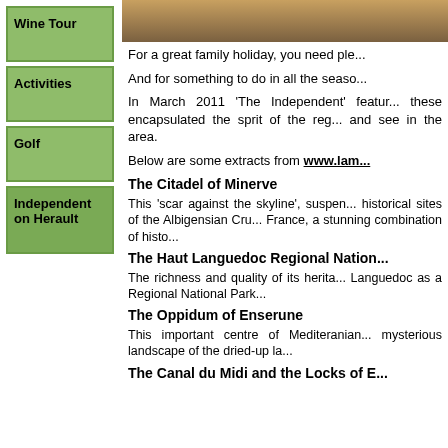[Figure (photo): Landscape/scenic photo strip at the top right, showing warm sunset tones over water or land.]
Wine Tour
Activities
Golf
Independent on Herault
For a great family holiday, you need ple...
And for something to do in all the seaso...
In March 2011 'The Independent' featur... these encapsulated the sprit of the reg... and see in the area.
Below are some extracts from www.la...
The Citadel of Minerve
This 'scar against the skyline', suspen... historical sites of the Albigensian Cru... France, a stunning combination of histo...
The Haut Languedoc Regional Nation...
The richness and quality of its herita... Languedoc as a Regional National Park...
The Oppidum of Enserune
This important centre of Mediteranian... mysterious landscape of the dried-up la...
The Canal du Midi and the Locks of E...